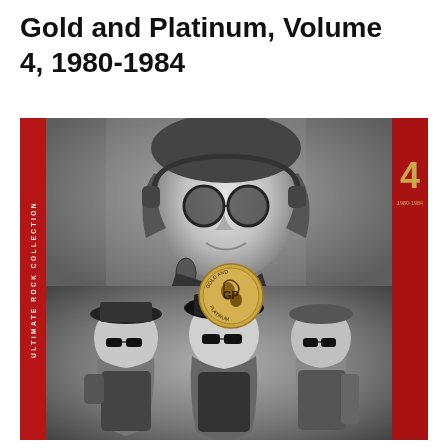Gold and Platinum, Volume 4, 1980-1984
[Figure (photo): Album cover for 'Gold and Platinum, Volume 4, 1980-1984' from the Ultimate Rock Collection series. Red background with black-and-white photos: top photo shows a musician with round glasses and headphones (resembling John Lennon) holding a microphone in a recording studio. Bottom photo shows three bearded men wearing sunglasses and hats (resembling ZZ Top). Right spine shows the number '4' in gold and '1980-1984'. Left spine reads 'Ultimate Rock Collection' vertically. A gold medallion badge in the center reads 'Gold and Platinum'.]